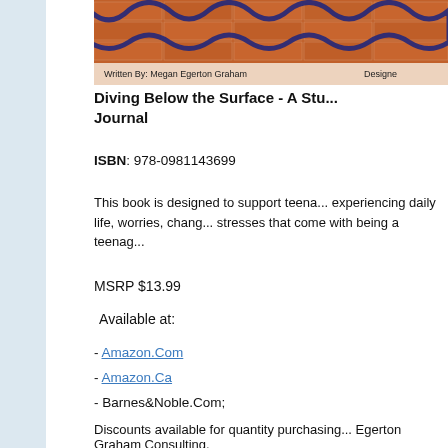[Figure (photo): Book cover image showing brick wall with wave pattern, text 'Written By: Megan Egerton Graham']
Diving Below the Surface - A Stu... Journal
ISBN: 978-0981143699
This book is designed to support teena... experiencing daily life, worries, chang... stresses that come with being a teenag...
MSRP $13.99
Available at:
- Amazon.Com
- Amazon.Ca
- Barnes&Noble.Com;
Discounts available for quantity purchasing... Egerton Graham Consulting.